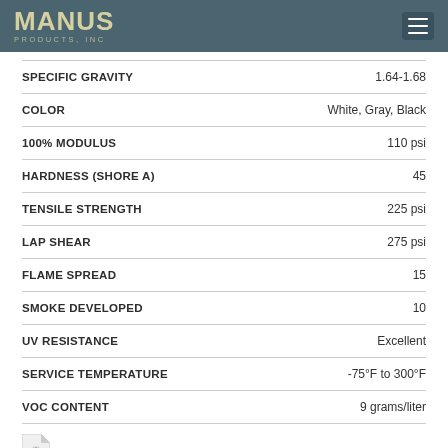MANUS PRODUCTS, INC
| Property | Value |
| --- | --- |
| SPECIFIC GRAVITY | 1.64-1.68 |
| COLOR | White, Gray, Black |
| 100% MODULUS | 110 psi |
| HARDNESS (SHORE A) | 45 |
| TENSILE STRENGTH | 225 psi |
| LAP SHEAR | 275 psi |
| FLAME SPREAD | 15 |
| SMOKE DEVELOPED | 10 |
| UV RESISTANCE | Excellent |
| SERVICE TEMPERATURE | -75°F to 300°F |
| VOC CONTENT | 9 grams/liter |
DOWNLOAD MANUS-BOND 75-AM UL SDS